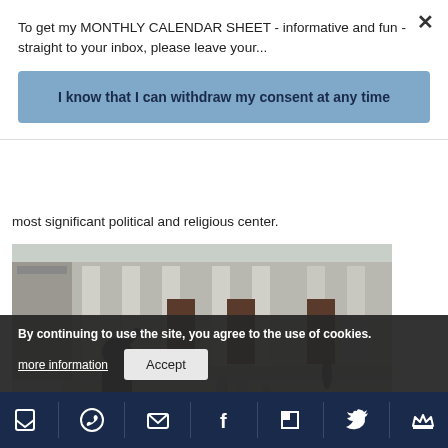To get my MONTHLY CALENDAR SHEET - informative and fun - straight to your inbox, please leave your...
I know that I can withdraw my consent at any time
most significant political and religious center.
[Figure (photo): Bronze dog statue in foreground with classical building columns and steps in background, people sitting and walking on steps]
By continuing to use the site, you agree to the use of cookies.
more information
Accept
[Figure (infographic): Bottom navigation toolbar with social sharing icons on dark navy background: bookmark, WhatsApp, email, Facebook, Flipboard, Twitter, and crown/newsletter icons]